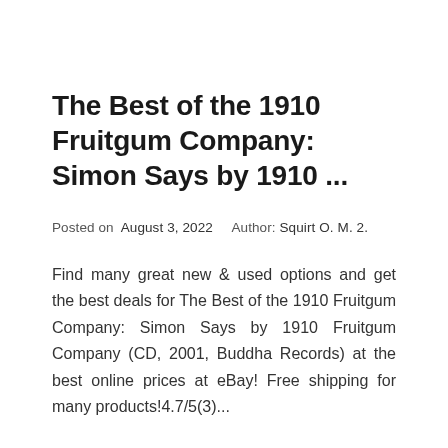The Best of the 1910 Fruitgum Company: Simon Says by 1910 ...
Posted on  August 3, 2022      Author: Squirt O. M. 2.
Find many great new & used options and get the best deals for The Best of the 1910 Fruitgum Company: Simon Says by 1910 Fruitgum Company (CD, 2001, Buddha Records) at the best online prices at eBay! Free shipping for many products!4.7/5(3)...